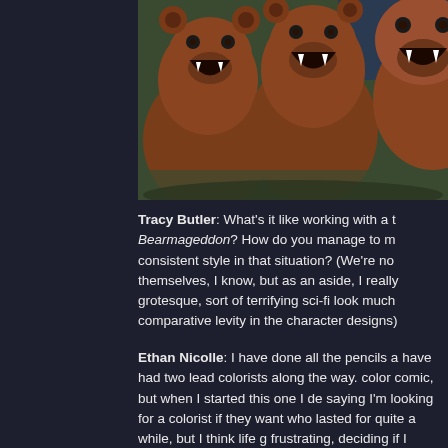[Figure (illustration): Comic-style illustration of multiple roaring brown bears with mouths open showing teeth, in a green foliage background]
Tracy Butler: What's it like working with a t Bearmageddon? How do you manage to m consistent style in that situation? (We're no themselves, I know, but as an aside, I really grotesque, sort of terrifying sci-fi look much comparative levity in the character designs)
Ethan Nicolle: I have done all the pencils a have had two lead colorists along the way. color comic, but when I started this one I de saying I'm looking for a colorist if they want who lasted for quite a while, but I think life g frustrating, deciding if I should just post bla